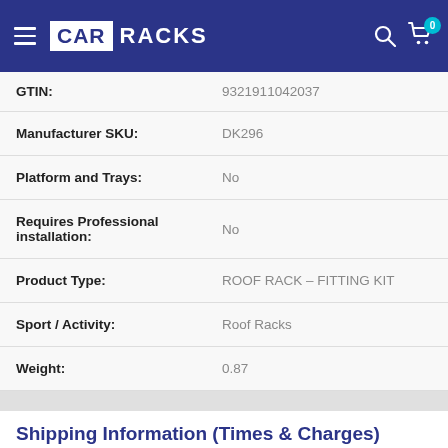CAR RACKS
| Attribute | Value |
| --- | --- |
| GTIN: | 9321911042037 |
| Manufacturer SKU: | DK296 |
| Platform and Trays: | No |
| Requires Professional installation: | No |
| Product Type: | ROOF RACK – FITTING KIT |
| Sport / Activity: | Roof Racks |
| Weight: | 0.87 |
Shipping Information (Times & Charges)